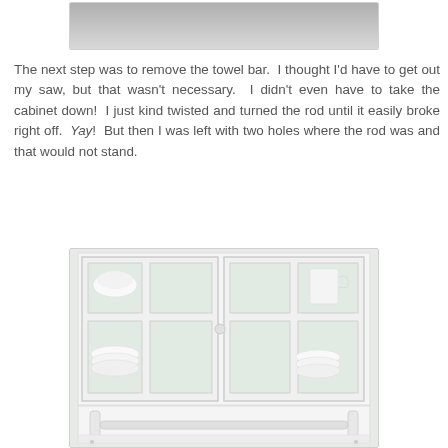[Figure (photo): Top portion of a photo showing a gray/silver surface, likely the top of a white cabinet or bar, cropped at top of page.]
The next step was to remove the towel bar.  I thought I'd have to get out my saw, but that wasn't necessary.  I didn't even have to take the cabinet down!  I just kind twisted and turned the rod until it easily broke right off.  Yay!  But then I was left with two holes where the rod was and that would not stand.
[Figure (photo): White bathroom cabinet with two glass-paned doors showing dishes and a pitcher inside, and a towel bar along the bottom.]